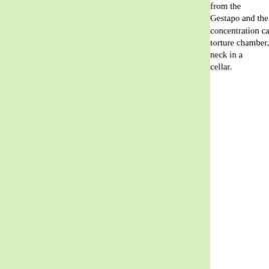from the Gestapo and the Storm Troops: concentration camp, the torture chamber, the revolver at the neck in a cellar.
William Langer: Having so pledged myself, and not having been elected to my senatorship upon organization to which we would give, either express or implied, that authority to send our boys all o... cannot support the Charter. I b... with danger to the American pe... American institutions.
Admiral Gene LaRocque: I hate it when they say, "He ga... country." Nobody gives their lif... steal the lives of these kids. W... from them. They don't die for t... glory of their country. We kill t...
Latin Proverb: History is written by the victor.
Andrew B. Law: There is no such thing as an in... war comes it will be from failur... wisdom.
Robert E. Lee: Governor, if I had foreseen the designed to make of their victo... there would have been no surr... Appomattox Courthouse; no si... Had I foreseen these results o...